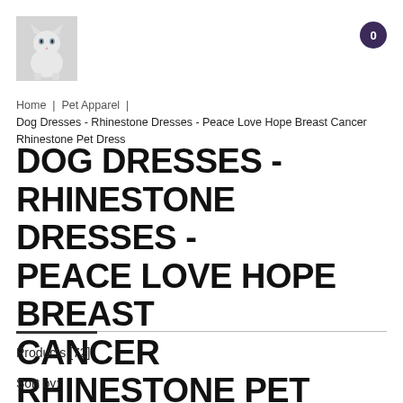[Figure (photo): Logo image of a white cat sitting, used as website logo]
0
Home | Pet Apparel | Dog Dresses - Rhinestone Dresses - Peace Love Hope Breast Cancer Rhinestone Pet Dress
DOG DRESSES - RHINESTONE DRESSES - PEACE LOVE HOPE BREAST CANCER RHINESTONE PET DRESS
Products [72]
Sort by: